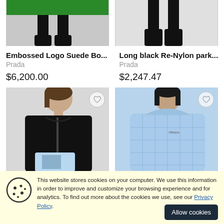[Figure (photo): Cropped photo of a person wearing a green skirt and black boots (left) and a person wearing black boots (right), top portion of a shopping page.]
Embossed Logo Suede Bo...
Prada
$6,200.00
Long black Re-Nylon park...
Prada
$2,247.47
[Figure (photo): Photo of a person wearing a black zip-up hoodie jacket (left) and a person wearing a light blue quilted puffer jacket (right).]
This website stores cookies on your computer. We use this information in order to improve and customize your browsing experience and for analytics. To find out more about the cookies we use, see our Privacy Policy.
Allow cookies